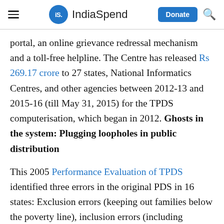IndiaSpend
portal, an online grievance redressal mechanism and a toll-free helpline. The Centre has released Rs 269.17 crore to 27 states, National Informatics Centres, and other agencies between 2012-13 and 2015-16 (till May 31, 2015) for the TPDS computerisation, which began in 2012. Ghosts in the system: Plugging loopholes in public distribution
This 2005 Performance Evaluation of TPDS identified three errors in the original PDS in 16 states: Exclusion errors (keeping out families below the poverty line), inclusion errors (including families above the poverty line) and ghost or fake consumers. Exclusion of families below the poverty line was the highest in Assam and Gujarat, lowest in Andhra Pradesh and Punjab. Inclusion of families above the